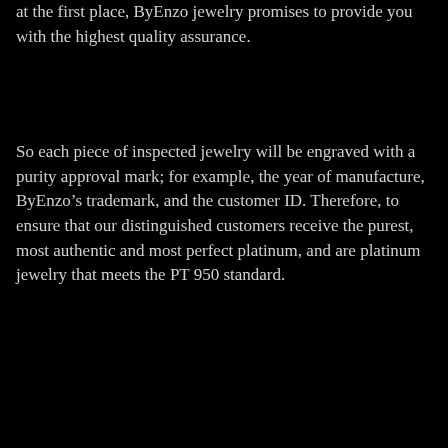at the first place, ByEnzo jewelry promises to provide you with the highest quality assurance.
So each piece of inspected jewelry will be engraved with a purity approval mark; for example, the year of manufacture, ByEnzo’s trademark, and the customer ID. Therefore, to ensure that our distinguished customers receive the purest, most authentic and most perfect platinum, and are platinum jewelry that meets the PT 950 standard.